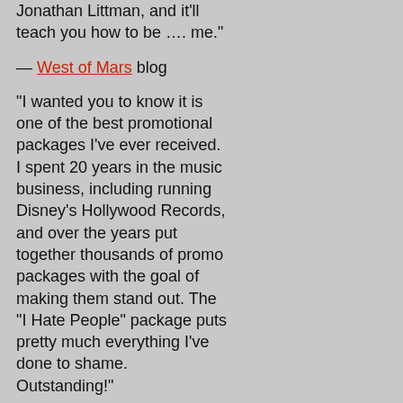Jonathan Littman, and it'll teach you how to be …. me."
— West of Mars blog
"I wanted you to know it is one of the best promotional packages I've ever received. I spent 20 years in the music business, including running Disney's Hollywood Records, and over the years put together thousands of promo packages with the goal of making them stand out. The "I Hate People" package puts pretty much everything I've done to shame. Outstanding!"
— Reviewer (name withheld)
"Your book on hating people is hilarious; I had no idea I'd inspired you so much, so negatively."